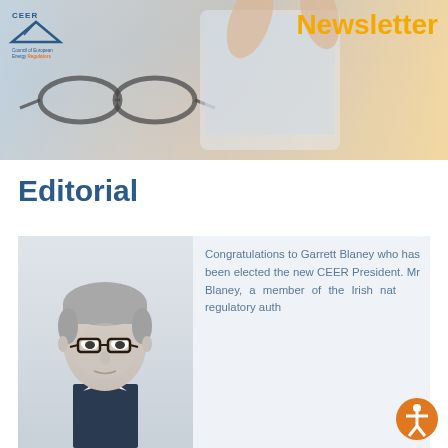[Figure (photo): CEER Newsletter banner header with photo of hands holding a tablet/device and glasses on a desk. Newsletter title in orange text top right. CEER logo top left.]
Editorial
[Figure (photo): Portrait photo of Garrett Blaney, man with grey hair and glasses wearing a suit]
Congratulations to Garrett Blaney who has been elected the new CEER President. Mr Blaney, a member of the Irish national regulatory authority